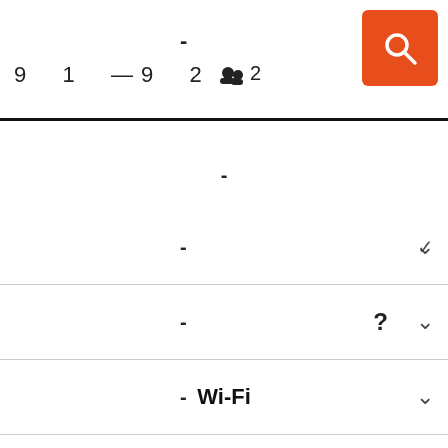9 1 -9 2   [persons icon] 2
[Figure (screenshot): Orange search button with magnifying glass icon in top right corner]
-
- [chevron]
- ? [chevron]
- Wi-Fi [chevron]
- [chevron]
- [chevron]
- [chevron]